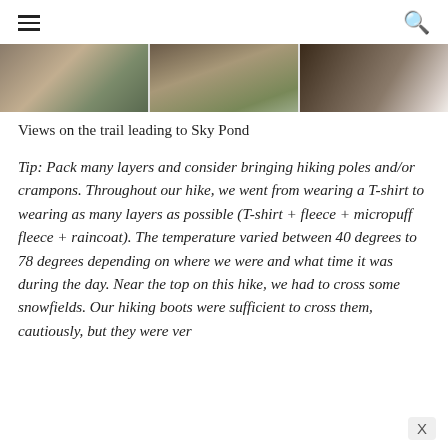[Figure (photo): Three side-by-side trail photos showing rocky terrain and vegetation on the trail leading to Sky Pond]
Views on the trail leading to Sky Pond
Tip: Pack many layers and consider bringing hiking poles and/or crampons.  Throughout our hike, we went from wearing a T-shirt to wearing as many layers as possible (T-shirt + fleece + micropuff fleece + raincoat).  The temperature varied between 40 degrees to 78 degrees depending on where we were and what time it was during the day.  Near the top on this hike, we had to cross some snowfields.  Our hiking boots were sufficient to cross them, cautiously, but they were ver